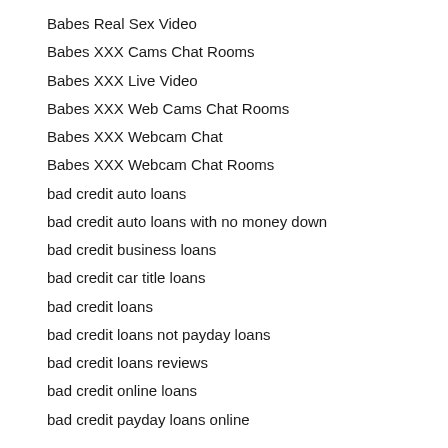Babes Real Sex Video
Babes XXX Cams Chat Rooms
Babes XXX Live Video
Babes XXX Web Cams Chat Rooms
Babes XXX Webcam Chat
Babes XXX Webcam Chat Rooms
bad credit auto loans
bad credit auto loans with no money down
bad credit business loans
bad credit car title loans
bad credit loans
bad credit loans not payday loans
bad credit loans reviews
bad credit online loans
bad credit payday loans online